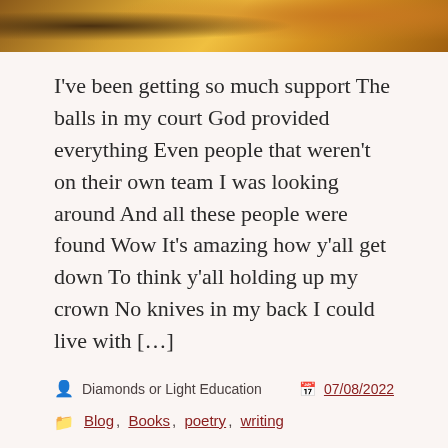[Figure (photo): Cropped top portion of a photo showing yellow fabric/clothing and a tree trunk in the background]
I've been getting so much support The balls in my court God provided everything Even people that weren't on their own team I was looking around And all these people were found Wow It's amazing how y'all get down To think y'all holding up my crown No knives in my back I could live with […]
Diamonds or Light Education  07/08/2022
Blog, Books, poetry, writing
art, Blog, Books, poetry, writing